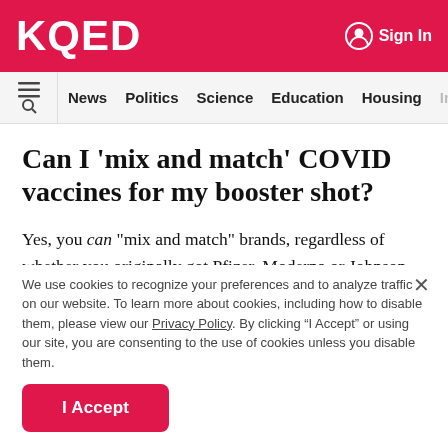KQED
Sign In
News Politics Science Education Housing Immig
Can I 'mix and match' COVID vaccines for my booster shot?
Yes, you can "mix and match" brands, regardless of whether you originally got Pfizer, Moderna or Johnson and Johnson shots for your primary vaccine series or your booster(s) after that.
We use cookies to recognize your preferences and to analyze traffic on our website. To learn more about cookies, including how to disable them, please view our Privacy Policy. By clicking “I Accept” or using our site, you are consenting to the use of cookies unless you disable them.
I Accept